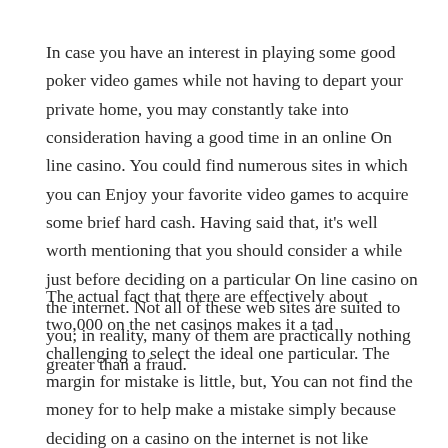In case you have an interest in playing some good poker video games while not having to depart your private home, you may constantly take into consideration having a good time in an online On line casino. You could find numerous sites in which you can Enjoy your favorite video games to acquire some brief hard cash. Having said that, it's well worth mentioning that you should consider a while just before deciding on a particular On line casino on the internet. Not all of these web sites are suited to you; in reality, many of them are practically nothing greater than a fraud.
The actual fact that there are effectively about two,000 on the net casinos makes it a tad challenging to select the ideal one particular. The margin for mistake is little, but, You can not find the money for to help make a mistake simply because deciding on a casino on the internet is not like purchasing some